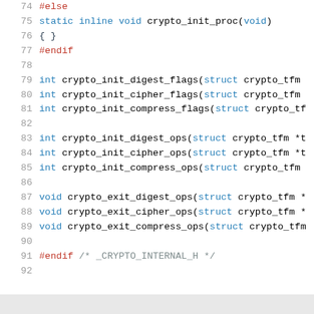74  #else
75  static inline void crypto_init_proc(void)
76  { }
77  #endif
78
79  int crypto_init_digest_flags(struct crypto_tfm ...
80  int crypto_init_cipher_flags(struct crypto_tfm ...
81  int crypto_init_compress_flags(struct crypto_tf...
82
83  int crypto_init_digest_ops(struct crypto_tfm *t...
84  int crypto_init_cipher_ops(struct crypto_tfm *t...
85  int crypto_init_compress_ops(struct crypto_tfm ...
86
87  void crypto_exit_digest_ops(struct crypto_tfm *...
88  void crypto_exit_cipher_ops(struct crypto_tfm *...
89  void crypto_exit_compress_ops(struct crypto_tfm...
90
91  #endif  /* _CRYPTO_INTERNAL_H */
92